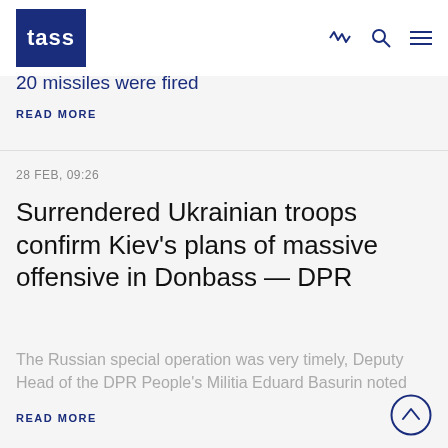TASS
20 missiles were fired
READ MORE
28 FEB, 09:26
Surrendered Ukrainian troops confirm Kiev's plans of massive offensive in Donbass — DPR
The Russian special operation was very timely, Deputy Head of the DPR People's Militia Eduard Basurin noted
READ MORE